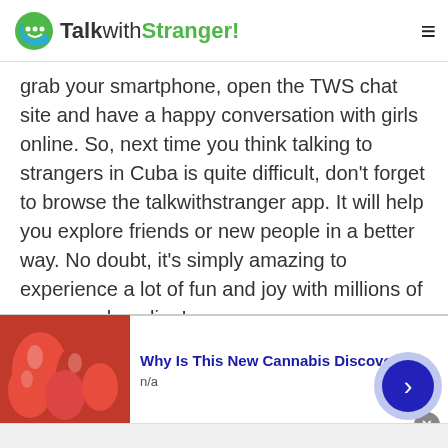TalkwithStranger!
grab your smartphone, open the TWS chat site and have a happy conversation with girls online. So, next time you think talking to strangers in Cuba is quite difficult, don't forget to browse the talkwithstranger app. It will help you explore friends or new people in a better way. No doubt, it's simply amazing to experience a lot of fun and joy with millions of new people online!
Adult chat
[Figure (screenshot): Advertisement banner showing red candy gummy bears with text 'Why Is This New Cannabis Discovery So' and 'n/a']